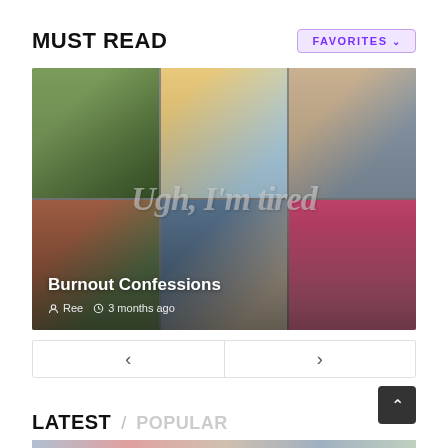MUST READ
FAVORITES ▾
[Figure (photo): 3x2 grid of images related to tiredness and burnout. Top row: person exercising/tired outdoors, headphones with 'Psalms to God' text, woman sleeping at laptop. Bottom row: woman looking tired/stressed, man asleep on desk, woman sitting against pink wall looking worried. Watermark text reads 'Ugh, I'm tired'.]
Burnout Confessions
Ree  3 months ago
< >
LATEST
/ POPULAR